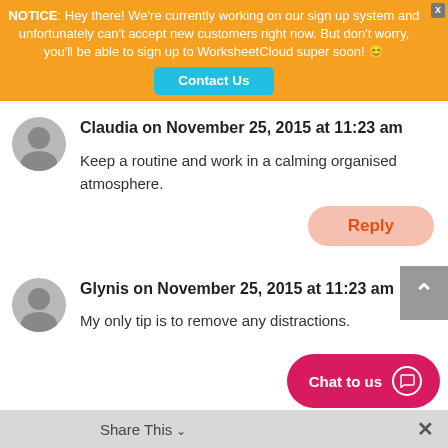NOTICE: Hey there! We're currently working on our sign up system and unfortunately can't accept new customers right now. But don't worry, you'll be able to sign up to WorksheetCloud super soon! 😊
Claudia on November 25, 2015 at 11:23 am
Keep a routine and work in a calming organised atmosphere.
Reply
Glynis on November 25, 2015 at 11:23 am
My only tip is to remove any distractions.
Share This ∨